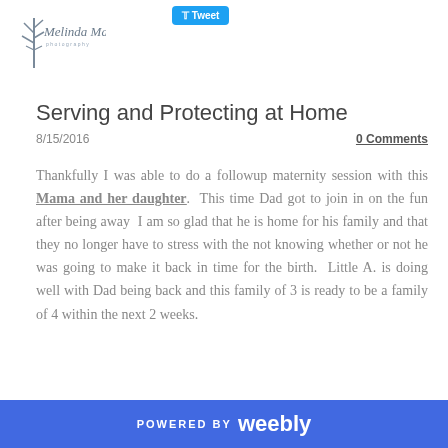[Figure (logo): Melinda Mae Photography logo with stylized tree/figure icon]
Serving and Protecting at Home
8/15/2016
0 Comments
Thankfully I was able to do a followup maternity session with this Mama and her daughter.  This time Dad got to join in on the fun after being away  I am so glad that he is home for his family and that they no longer have to stress with the not knowing whether or not he was going to make it back in time for the birth.  Little A. is doing well with Dad being back and this family of 3 is ready to be a family of 4 within the next 2 weeks.
POWERED BY weebly